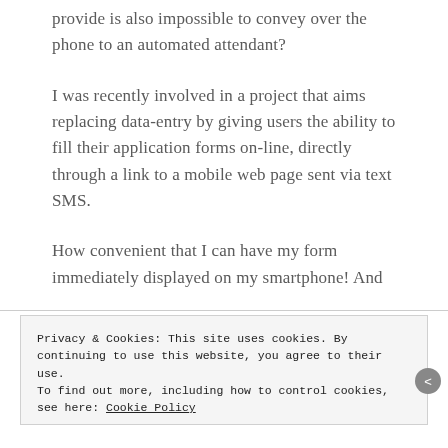provide is also impossible to convey over the phone to an automated attendant?
I was recently involved in a project that aims replacing data-entry by giving users the ability to fill their application forms on-line, directly through a link to a mobile web page sent via text SMS.
How convenient that I can have my form immediately displayed on my smartphone! And
Privacy & Cookies: This site uses cookies. By continuing to use this website, you agree to their use.
To find out more, including how to control cookies, see here: Cookie Policy
Close and accept